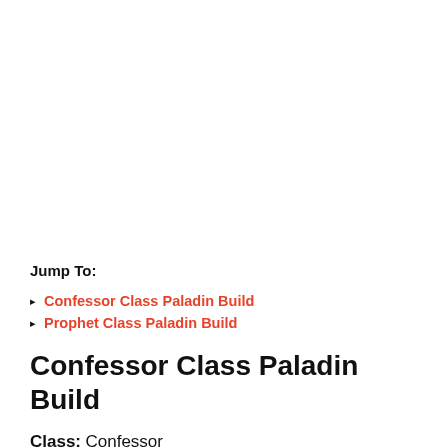Jump To:
Confessor Class Paladin Build
Prophet Class Paladin Build
Confessor Class Paladin Build
Class: Confessor